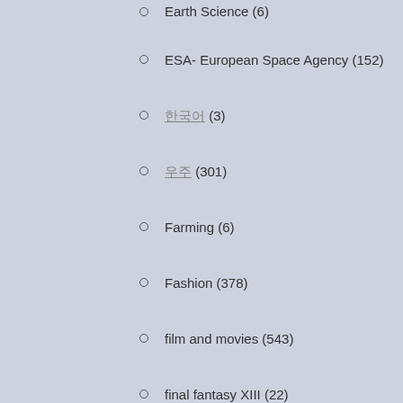Earth Science (6)
ESA- European Space Agency (152)
한국어 (3)
우주 (301)
Farming (6)
Fashion (378)
film and movies (543)
final fantasy XIII (22)
Finding Mulan (1)
food and beverages (13)
GADGETS (1,147)
game of thrones (14)
Game photography (50)
Gaming (430)
Geek Fashion (331)
geek homeware (336)